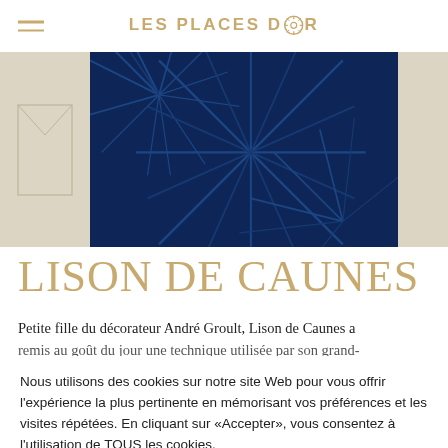LES PLACES D'OR
[Figure (photo): Decorative artwork showing a dark blue panel with radiating fan-like lines in the center, flanked by two beige/cream panels with envelope-style geometric line drawings]
LISON DE CAUNES
Petite fille du décorateur André Groult, Lison de Caunes a remis au goût du jour une technique utilisée par son grand-
Nous utilisons des cookies sur notre site Web pour vous offrir l'expérience la plus pertinente en mémorisant vos préférences et les visites répétées. En cliquant sur «Accepter», vous consentez à l'utilisation de TOUS les cookies.
Cookie settings  ACCEPTER